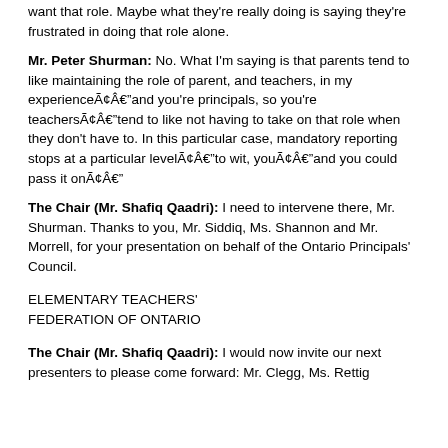want that role. Maybe what they're really doing is saying they're frustrated in doing that role alone.
Mr. Peter Shurman: No. What I'm saying is that parents tend to like maintaining the role of parent, and teachers, in my experienceÃ¢Âand you're principals, so you're teachersÃ¢Âtend to like not having to take on that role when they don't have to. In this particular case, mandatory reporting stops at a particular levelÃ¢Âto wit, youÃ¢Âand you could pass it onÃ¢Â
The Chair (Mr. Shafiq Qaadri): I need to intervene there, Mr. Shurman. Thanks to you, Mr. Siddiq, Ms. Shannon and Mr. Morrell, for your presentation on behalf of the Ontario Principals' Council.
ELEMENTARY TEACHERS' FEDERATION OF ONTARIO
The Chair (Mr. Shafiq Qaadri): I would now invite our next presenters to please come forward: Mr. Clegg, Ms. Rettig